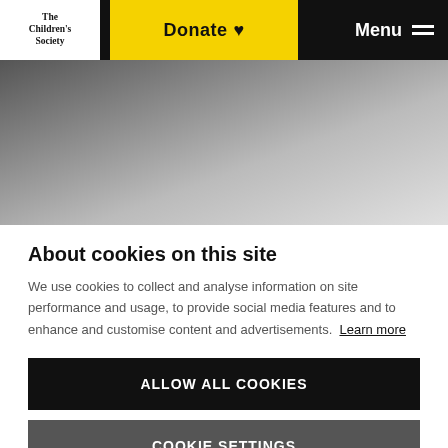[Figure (logo): The Children's Society logo - black text on white background with serif font]
[Figure (screenshot): Navigation bar with yellow Donate button with heart icon and white Menu text with hamburger icon on black background]
[Figure (photo): Gradient hero image area transitioning from dark grey on the left to light grey/white on the right]
About cookies on this site
We use cookies to collect and analyse information on site performance and usage, to provide social media features and to enhance and customise content and advertisements. Learn more
ALLOW ALL COOKIES
COOKIE SETTINGS